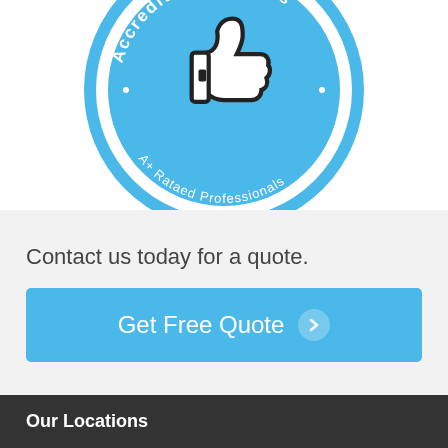[Figure (logo): Circular blue badge/seal with thumbs up icon in center, text reading 'Accredited Business' around the top arc and 'A+ Rataed Professionals' around the bottom arc, with dots as separators. Blue and white color scheme.]
Contact us today for a quote.
Get Free Quote ❯
Our Locations